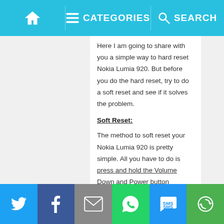Home | Categories | Search
Here I am going to share with you a simple way to hard reset Nokia Lumia 920. But before you do the hard reset, try to do a soft reset and see if it solves the problem.
Soft Reset:
The method to soft reset your Nokia Lumia 920 is pretty simple. All you have to do is press and hold the Volume Down and Power button together for 10 seconds. Your phone will vibrate and you will see a booting
Share buttons: Twitter, Facebook, Email, WhatsApp, SMS, Other